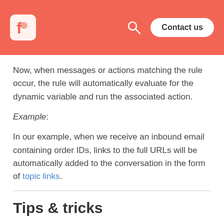Freshdesk logo | Search | Contact us
Now, when messages or actions matching the rule occur, the rule will automatically evaluate for the dynamic variable and run the associated action.
Example:
In our example, when we receive an inbound email containing order IDs, links to the full URLs will be automatically added to the conversation in the form of topic links.
Tips & tricks